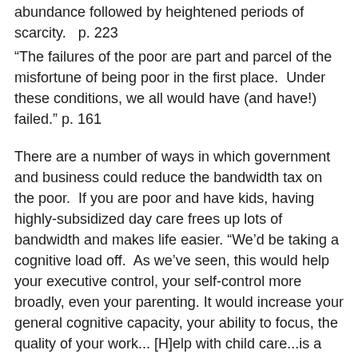abundance followed by heightened periods of scarcity.   p. 223
“The failures of the poor are part and parcel of the misfortune of being poor in the first place.  Under these conditions, we all would have (and have!) failed.” p. 161
There are a number of ways in which government and business could reduce the bandwidth tax on the poor.  If you are poor and have kids, having highly-subsidized day care frees up lots of bandwidth and makes life easier. “We’d be taking a cognitive load off.  As we’ve seen, this would help your executive control, your self-control more broadly, even your parenting. It would increase your general cognitive capacity, your ability to focus, the quality of your work... [H]elp with child care...is a way to build human capital of the deepest kind: it creates bandwidth.” p. 176-77
Jobs paying minimum wages require those with children to work two or more jobs in order to be able to pay the bills.  This situation is aggravated when these jobs do not provide